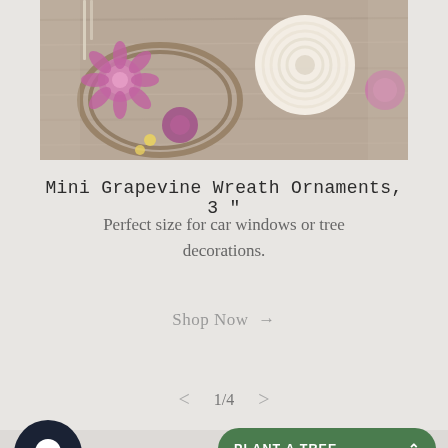[Figure (photo): Product photo of mini grapevine wreath ornaments with dried flowers (pink, purple) and a white sola flower on a wooden background]
Mini Grapevine Wreath Ornaments, 3 "
Perfect size for car windows or tree decorations.
Shop Now →
< 1/4 >
[Figure (logo): Dark circular chat/message icon]
Handma
PLANT A TREE ∧